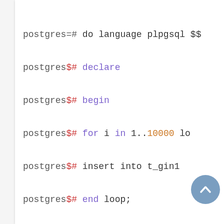postgres=# do language plpgsql $$
postgres$# declare
postgres$# begin
postgres$#   for i in 1..10000 lo
postgres$#     insert into t_gin1
postgres$#   end loop;
postgres$# end;
postgres$# $$;
DO
postgres=# select * from t_gin1 l
id |                          arr
----+------------------------------
1 | {128,700,814,592,414,838,61
2 | {284,452,824,556,132,121,21